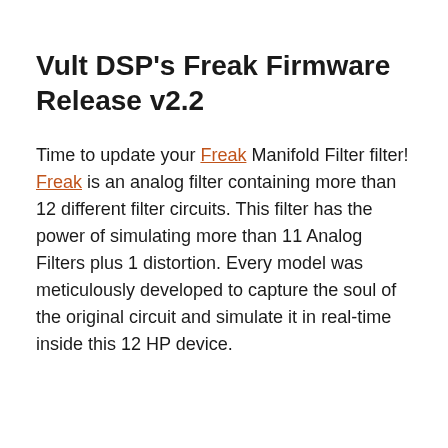Vult DSP's Freak Firmware Release v2.2
Time to update your Freak Manifold Filter filter! Freak is an analog filter containing more than 12 different filter circuits. This filter has the power of simulating more than 11 Analog Filters plus 1 distortion. Every model was meticulously developed to capture the soul of the original circuit and simulate it in real-time inside this 12 HP device.